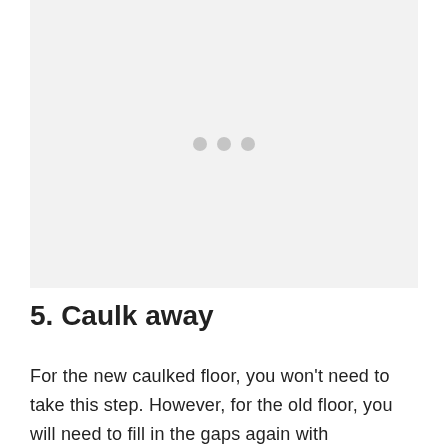[Figure (other): Light gray placeholder image area with three gray dots in the center, indicating a loading or placeholder image.]
5. Caulk away
For the new caulked floor, you won't need to take this step. However, for the old floor, you will need to fill in the gaps again with